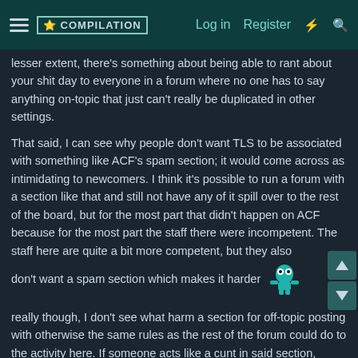☰ [Logo] Log in  Register  ⚡ 🔍
lesser extent, there's something about being able to rant about your shit day to everyone in a forum where no one has to say anything on-topic that just can't really be duplicated in other settings.
That said, I can see why people don't want TLS to be associated with something like ACF's spam section; it would come across as intimidating to newcomers. I think it's possible to run a forum with a section like that and still not have any of it spill over to the rest of the board, but for the most part that didn't happen on ACF because for the most part the staff there were incompetent. The staff here are quite a bit more competent, but they also don't want a spam section which makes it harder [emoji]
really though, I don't see what harm a section for off-topic posting with otherwise the same rules as the rest of the forum could do to the activity here. If someone acts like a cunt in said section, they'd get b& just as they would in the rest of the forum. It's worth noting as well that much as we try to keep Compilation